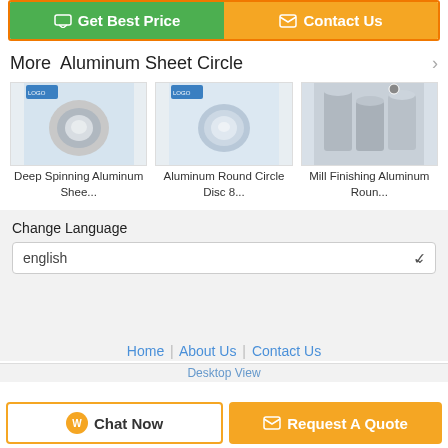[Figure (screenshot): Two buttons: 'Get Best Price' (green) and 'Contact Us' (orange), inside an orange border]
More  Aluminum Sheet Circle
[Figure (photo): Deep Spinning Aluminum Sheet Circle product photo]
Deep Spinning Aluminum Shee...
[Figure (photo): Aluminum Round Circle Disc 8... product photo]
Aluminum Round Circle Disc 8...
[Figure (photo): Mill Finishing Aluminum Roun... product photo]
Mill Finishing Aluminum Roun...
Change Language
english
Home | About Us | Contact Us
Desktop View
[Figure (screenshot): Bottom bar with Chat Now and Request A Quote buttons]